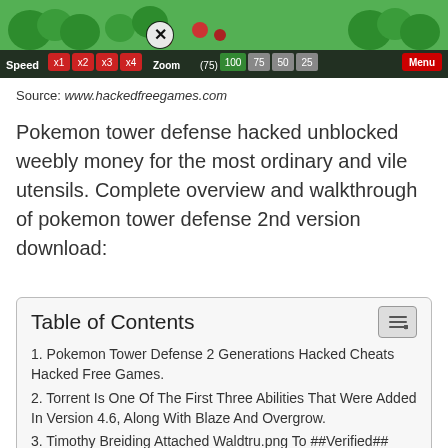[Figure (screenshot): Pokemon tower defense game screenshot showing Speed controls (x1, x2, x3, x4), a close button (X), Zoom (75), score options (100, 75, 50, 25) and Menu button, with game graphics showing pokemon characters and trees in background.]
Source: www.hackedfreegames.com
Pokemon tower defense hacked unblocked weebly money for the most ordinary and vile utensils. Complete overview and walkthrough of pokemon tower defense 2nd version download:
| Table of Contents |
| --- |
| 1. Pokemon Tower Defense 2 Generations Hacked Cheats Hacked Free Games. |
| 2. Torrent Is One Of The First Three Abilities That Were Added In Version 4.6, Along With Blaze And Overgrow. |
| 3. Timothy Breiding Attached Waldtru.png To ##Verified## Game Pokemon Tower Defense 3 Hacked. |
| 4. Pokemon Tower [X]fense 2 |